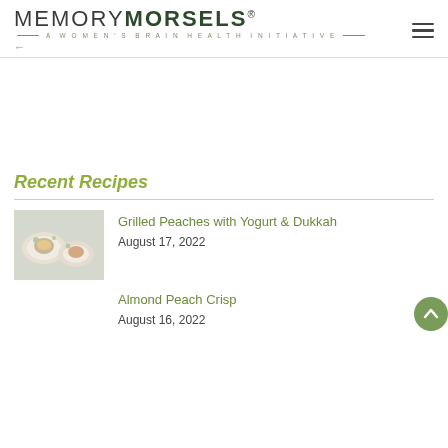MEMORY MORSELS® — A WOMEN'S BRAIN HEALTH INITIATIVE —
[Figure (other): Advertisement or blank space area]
Recent Recipes
[Figure (photo): Photo of grilled peaches with yogurt on plates]
Grilled Peaches with Yogurt & Dukkah
August 17, 2022
Almond Peach Crisp
August 16, 2022